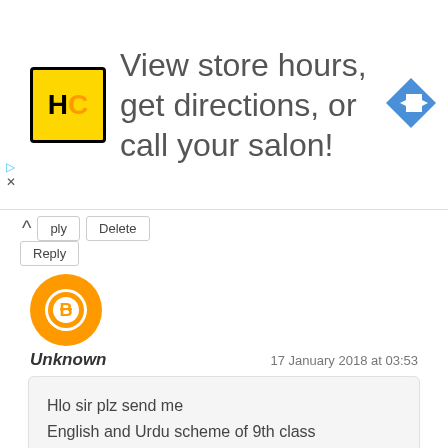[Figure (infographic): Advertisement banner: HC logo (yellow square with black HC text), text 'View store hours, get directions, or call your salon!', blue diamond arrow icon on right]
ply | Delete
Reply
[Figure (illustration): Orange Blogger avatar icon (circle with white B symbol)]
Unknown
17 January 2018 at 03:53
Hlo sir plz send me
English and Urdu scheme of 9th class
Reply | Delete
Reply
[Figure (illustration): Orange Blogger avatar icon (circle with white B symbol)]
Unk